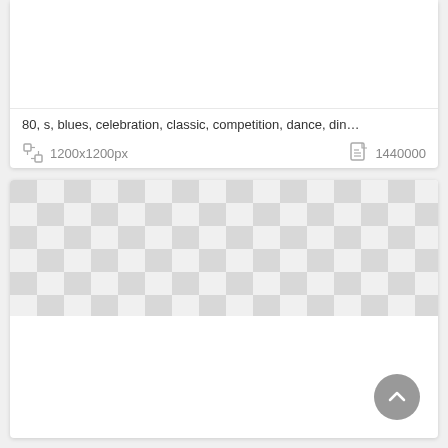80, s, blues, celebration, classic, competition, dance, din…
1200x1200px   1440000
[Figure (other): Checkerboard transparency pattern (gray and white squares) indicating a transparent/empty image preview area in a UI card]